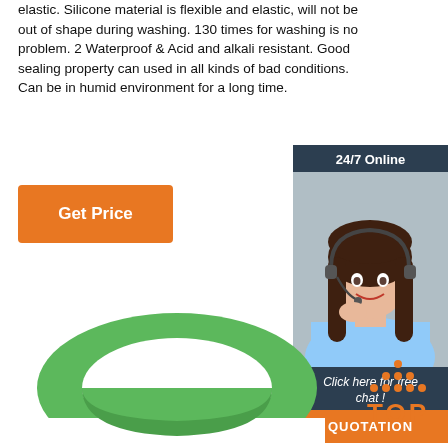elastic. Silicone material is flexible and elastic, will not be out of shape during washing. 130 times for washing is no problem. 2 Waterproof & Acid and alkali resistant. Good sealing property can used in all kinds of bad conditions. Can be in humid environment for a long time.
[Figure (other): Orange 'Get Price' button]
[Figure (other): 24/7 online chat widget with photo of female customer service representative wearing headset. Text: 'Click here for free chat!' and orange QUOTATION button.]
[Figure (photo): Green silicone rubber ring/band product photo, partial view showing curved ring from below]
[Figure (logo): TOP logo with orange dots arranged in triangle and orange text 'TOP']